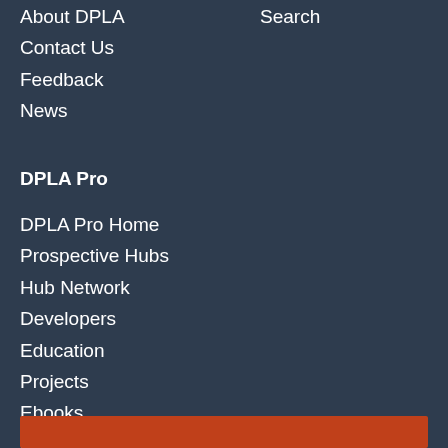About DPLA
Contact Us
Feedback
News
Search
DPLA Pro
DPLA Pro Home
Prospective Hubs
Hub Network
Developers
Education
Projects
Ebooks
Events
[Figure (other): Orange bar at bottom of page]